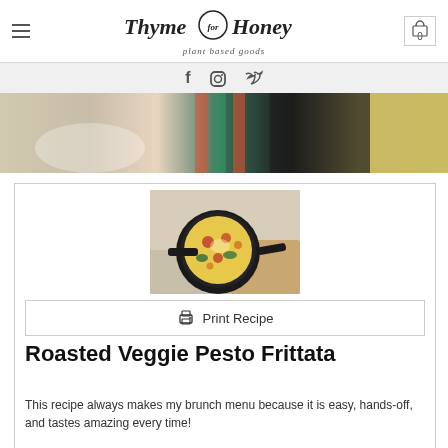Thyme for Honey — plant based goods
[Figure (screenshot): Social media icons: Facebook, Instagram, Twitter]
[Figure (photo): Hero banner image showing food styling with colorful cloth and cast iron pan with frittata]
[Figure (photo): Overhead photo of a cast iron skillet containing a roasted veggie pesto frittata with colorful vegetables]
Print Recipe
Roasted Veggie Pesto Frittata
This recipe always makes my brunch menu because it is easy, hands-off, and tastes amazing every time!